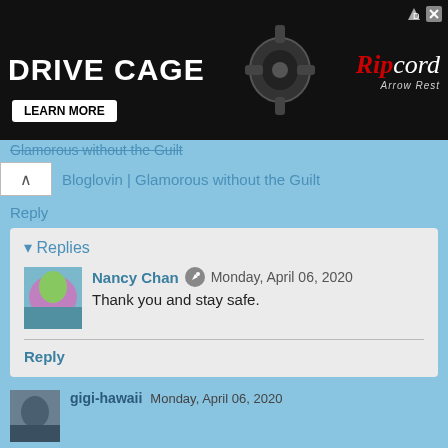[Figure (other): Advertisement banner for Drive Cage by Ripcord Arrow Rest. Black background with 'DRIVE CAGE' in large white bold text, a bike component image, Ripcord Arrow Rest logo in red and white, and a 'LEARN MORE' button.]
Glamorous without the Guilt (strikethrough/partial link)
Bloglovin | Glamorous without the Guilt
Reply
Replies
Nancy Chan  Monday, April 06, 2020
Thank you and stay safe.
Reply
gigi-hawaii  Monday, April 06, 2020
You eat meat for breakfast, whereas we eat pancakes, or rolls, or fruit. Interesting diet.
Reply